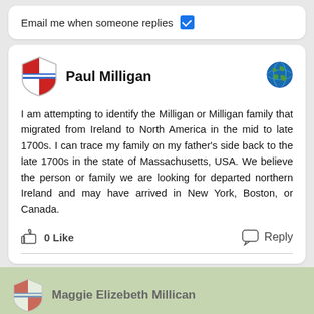Email me when someone replies ☑
Paul Milligan
I am attempting to identify the Milligan or Milligan family that migrated from Ireland to North America in the mid to late 1700s. I can trace my family on my father's side back to the late 1700s in the state of Massachusetts, USA. We believe the person or family we are looking for departed northern Ireland and may have arrived in New York, Boston, or Canada.
0 Like   Reply
By using our site we assume you are ok with our cookie policy  Ok
Maggie Elizebeth Millican